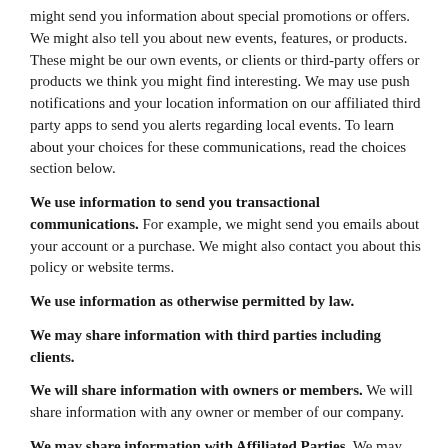might send you information about special promotions or offers. We might also tell you about new events, features, or products. These might be our own events, or clients or third-party offers or products we think you might find interesting. We may use push notifications and your location information on our affiliated third party apps to send you alerts regarding local events. To learn about your choices for these communications, read the choices section below.
We use information to send you transactional communications. For example, we might send you emails about your account or a purchase. We might also contact you about this policy or website terms.
We use information as otherwise permitted by law.
We may share information with third parties including clients.
We will share information with owners or members. We will share information with any owner or member of our company.
We may share information with Affiliated Parties. We may share your PII or Non-PII with our affiliates, including Live Nation and its affiliates and contractors, Star Hill and its affiliates and contractors, AC Entertainment, VMI, owners of RME operated or managed venues or other locations where RME produced and/or promoted events